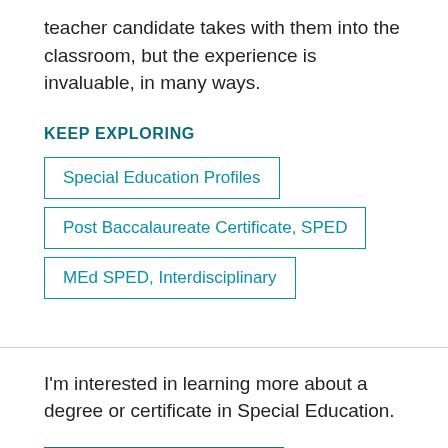teacher candidate takes with them into the classroom, but the experience is invaluable, in many ways.
KEEP EXPLORING
Special Education Profiles
Post Baccalaureate Certificate, SPED
MEd SPED, Interdisciplinary
I'm interested in learning more about a degree or certificate in Special Education.
Request More Info